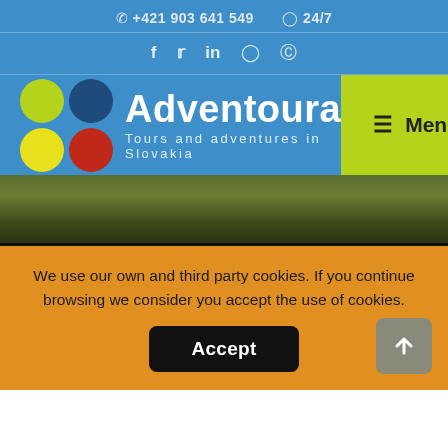📞 +421 903 641 549   🕐 24/7
f  𝕏  in  ⊚  ⊛
[Figure (logo): Adventoura logo with four colored circles (green, blue, yellow, red) and text 'Adventoura Tours and adventures in Slovakia']
≡  Menu
[Figure (photo): Blurred green nature background banner]
We use our own and third party cookies. If you continue browsing we consider you accept the use of cookies.
Accept